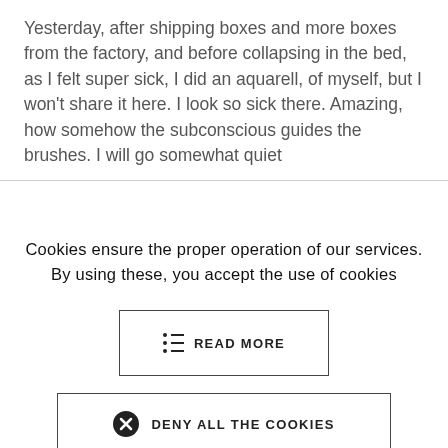Yesterday, after shipping boxes and more boxes from the factory, and before collapsing in the bed, as I felt super sick, I did an aquarell, of myself, but I won't share it here. I look so sick there. Amazing, how somehow the subconscious guides the brushes. I will go somewhat quiet
Cookies ensure the proper operation of our services. By using these, you accept the use of cookies
READ MORE
DENY ALL THE COOKIES
ALLOW ALL THE COOKIES